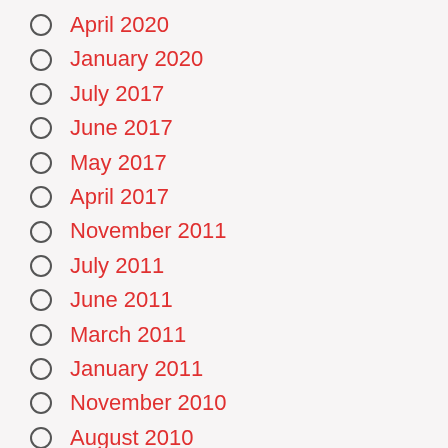April 2020
January 2020
July 2017
June 2017
May 2017
April 2017
November 2011
July 2011
June 2011
March 2011
January 2011
November 2010
August 2010
July 2010
June 2010
May 2010